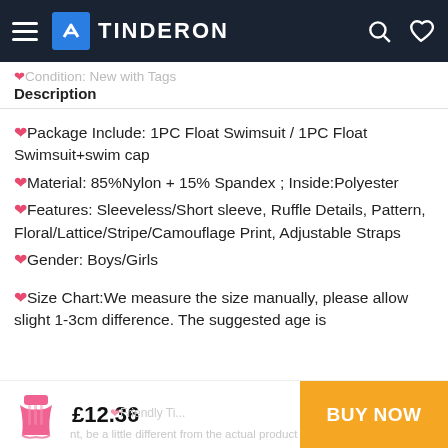TINDERON
❤️Condition: New with Tags
Description
❤️Package Include: 1PC Float Swimsuit / 1PC Float Swimsuit+swim cap
❤️Material: 85%Nylon + 15% Spandex ; Inside:Polyester
❤️Features: Sleeveless/Short sleeve, Ruffle Details, Pattern, Floral/Lattice/Stripe/Camouflage Print, Adjustable Straps
❤️Gender: Boys/Girls
❤️Size Chart:We measure the size manually, please allow slight 1-3cm difference. The suggested age is
£12.36  BUY NOW